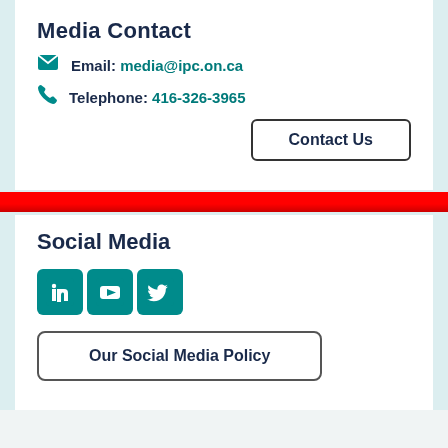Media Contact
Email: media@ipc.on.ca
Telephone: 416-326-3965
Contact Us
Social Media
[Figure (infographic): LinkedIn, YouTube, and Twitter social media icons in teal rounded square boxes]
Our Social Media Policy